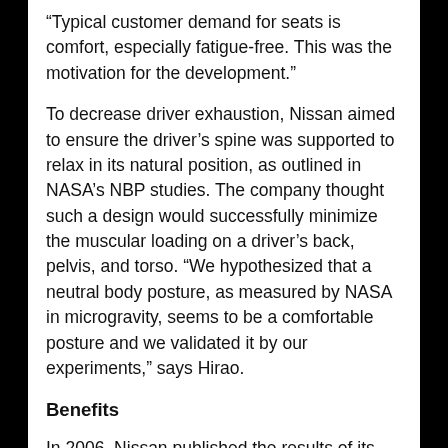“Typical customer demand for seats is comfort, especially fatigue-free. This was the motivation for the development.”
To decrease driver exhaustion, Nissan aimed to ensure the driver’s spine was supported to relax in its natural position, as outlined in NASA’s NBP studies. The company thought such a design would successfully minimize the muscular loading on a driver’s back, pelvis, and torso. “We hypothesized that a neutral body posture, as measured by NASA in microgravity, seems to be a comfortable posture and we validated it by our experiments,” says Hirao.
Benefits
In 2006, Nissan published the results of its first study on its new experimental seat with a two-piece backrest to maintain NBP. The results confirmed that the seat supported the spine and areas from the pelvis to the chest and improved blood flow. The